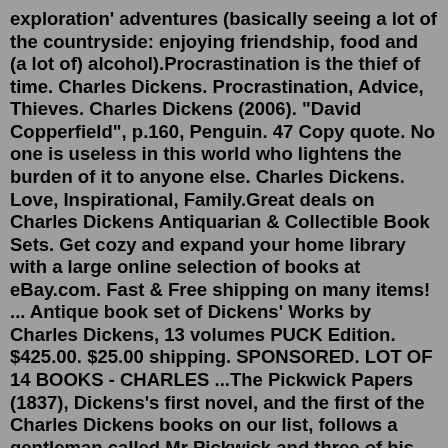exploration' adventures (basically seeing a lot of the countryside: enjoying friendship, food and (a lot of) alcohol).Procrastination is the thief of time. Charles Dickens. Procrastination, Advice, Thieves. Charles Dickens (2006). "David Copperfield", p.160, Penguin. 47 Copy quote. No one is useless in this world who lightens the burden of it to anyone else. Charles Dickens. Love, Inspirational, Family.Great deals on Charles Dickens Antiquarian & Collectible Book Sets. Get cozy and expand your home library with a large online selection of books at eBay.com. Fast & Free shipping on many items! ... Antique book set of Dickens' Works by Charles Dickens, 13 volumes PUCK Edition. $425.00. $25.00 shipping. SPONSORED. LOT OF 14 BOOKS - CHARLES ...The Pickwick Papers (1837), Dickens's first novel, and the first of the Charles Dickens books on our list, follows a gentleman called Mr Pickwick and three of his best friends. Together they make up the 'Pickwick Club' which consists of the 4 of them travelling